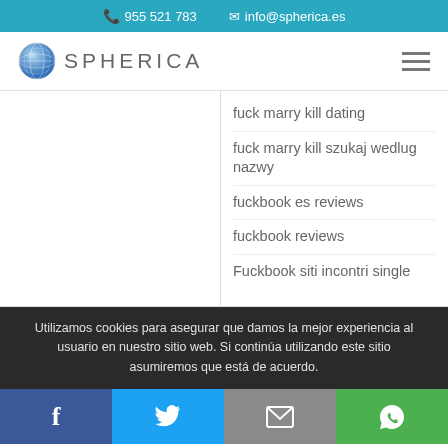955 521 783  info@spherica.es
[Figure (logo): Spherica logo with globe icon and text SPHERICA]
fuck marry kill dating
fuck marry kill szukaj wedlug nazwy
fuckbook es reviews
fuckbook reviews
Fuckbook siti incontri single
Utilizamos cookies para asegurar que damos la mejor experiencia al usuario en nuestro sitio web. Si continúa utilizando este sitio asumiremos que está de acuerdo.
Facebook | Twitter | Email | WhatsApp